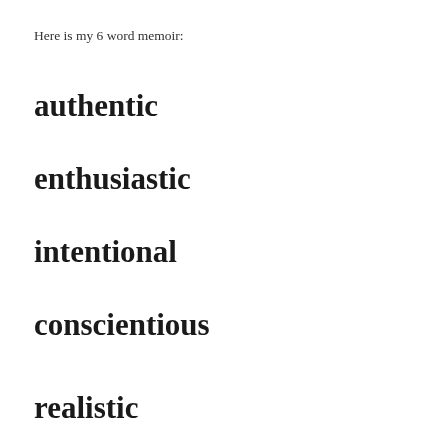Here is my 6 word memoir:
authentic
enthusiastic
intentional
conscientious
realistic